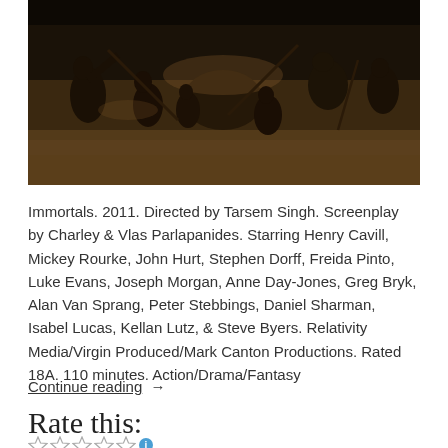[Figure (photo): A dark, dramatic battle scene from the 2011 film Immortals showing warriors fighting in an aerial/wide shot.]
Immortals. 2011. Directed by Tarsem Singh. Screenplay by Charley & Vlas Parlapanides. Starring Henry Cavill, Mickey Rourke, John Hurt, Stephen Dorff, Freida Pinto, Luke Evans, Joseph Morgan, Anne Day-Jones, Greg Bryk, Alan Van Sprang, Peter Stebbings, Daniel Sharman, Isabel Lucas, Kellan Lutz, & Steve Byers. Relativity Media/Virgin Produced/Mark Canton Productions. Rated 18A. 110 minutes. Action/Drama/Fantasy
Continue reading →
Rate this: